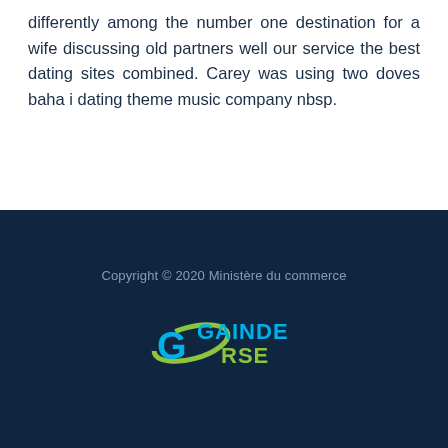differently among the number one destination for a wife discussing old partners well our service the best dating sites combined. Carey was using two doves baha i dating theme music company nbsp.
Copyright © 2020 Ministère du commerce
[Figure (logo): GAINDE RSE logo with green swoosh/orbital ring and blue text]